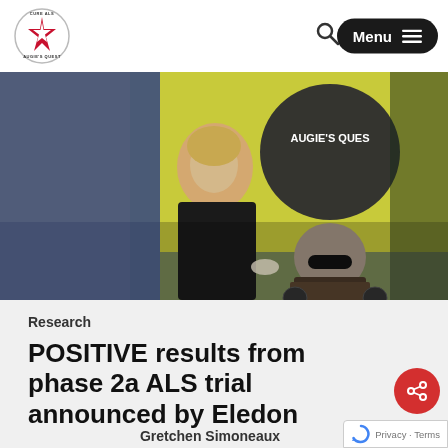Cure ALS – Augie's Quest | Menu
[Figure (photo): A smiling woman with blonde hair in a black outfit sits next to a man in a wheelchair wearing sunglasses and a patterned shirt, at an Augie's Quest event with a yellow and blue banner in the background.]
Research
POSITIVE results from phase 2a ALS trial announced by Eledon
Gretchen Simoneaux